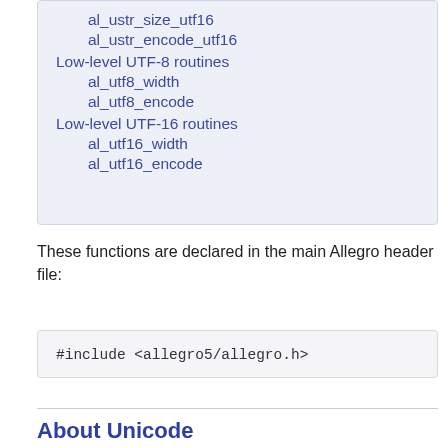al_ustr_size_utf16
al_ustr_encode_utf16
Low-level UTF-8 routines
al_utf8_width
al_utf8_encode
Low-level UTF-16 routines
al_utf16_width
al_utf16_encode
These functions are declared in the main Allegro header file:
#include <allegro5/allegro.h>
About Unicode
Here we should give a short overview of Unicode/UCS and in